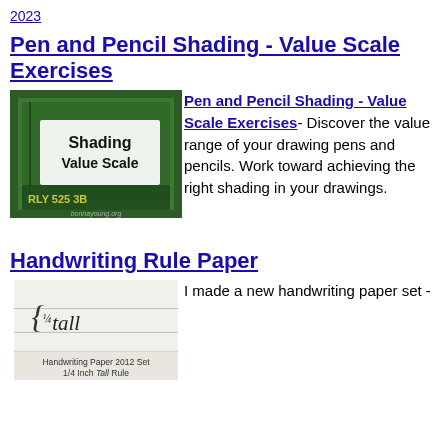2023
Pen and Pencil Shading - Value Scale Exercises
[Figure (photo): Photo of a green pencil case or box with text 'Shading Value Scale' and 'RLY 525 3B' with bonnayoung.org watermark]
Pen and Pencil Shading - Value Scale Exercises- Discover the value range of your drawing pens and pencils. Work toward achieving the right shading in your drawings.
Handwriting Rule Paper
[Figure (photo): Photo showing handwriting on ruled paper with text 'Handwriting Paper 2012 Set 1/4 Inch Tall Rule']
I made a new handwriting paper set -